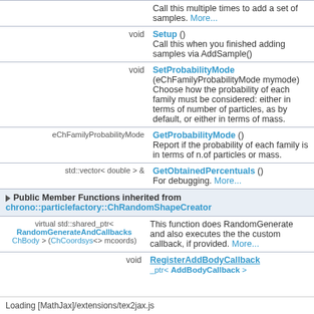| Type | Member Function / Description |
| --- | --- |
|  | Call this multiple times to add a set of samples. More... |
| void | Setup () — Call this when you finished adding samples via AddSample() |
| void | SetProbabilityMode (eChFamilyProbabilityMode mymode) — Choose how the probability of each family must be considered: either in terms of number of particles, as by default, or either in terms of mass. |
| eChFamilyProbabilityMode | GetProbabilityMode () — Report if the probability of each family is in terms of n.of particles or mass. |
| std::vector< double > & | GetObtainedPercentuals () — For debugging. More... |
Public Member Functions inherited from chrono::particlefactory::ChRandomShapeCreator
| Type | Member Function / Description |
| --- | --- |
| virtual std::shared_ptr< RandomGenerateAndCallbacks ChBody > (ChCoordsys<> mcoords) | This function does RandomGenerate and also executes the the custom callback, if provided. More... |
| void | RegisterAddBodyCallback |
Loading [MathJax]/extensions/tex2jax.js